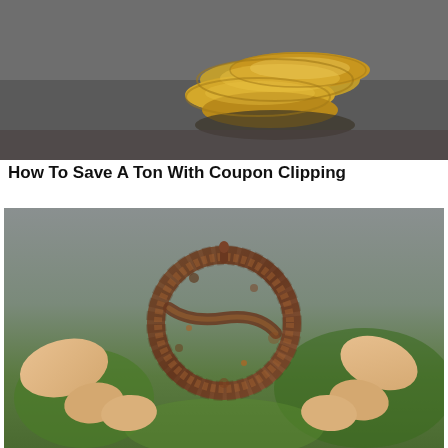[Figure (photo): Close-up photo of gold coins stacked on a dark surface, partially cropped at top]
How To Save A Ton With Coupon Clipping
[Figure (photo): A hand holding a rusty, corroded circular metal ring or buckle artifact against a blurred green and grey background]